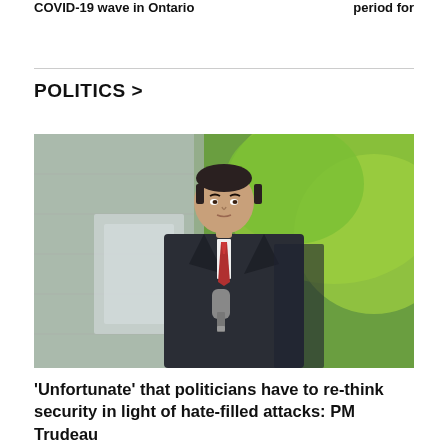COVID-19 wave in Ontario ... period for ...
POLITICS >
[Figure (photo): A man in a dark suit with a red tie, dark hair, standing at a microphone in front of a stone wall with green trees in the background. Likely a political figure speaking at a press conference.]
'Unfortunate' that politicians have to re-think security in light of hate-filled attacks: PM Trudeau